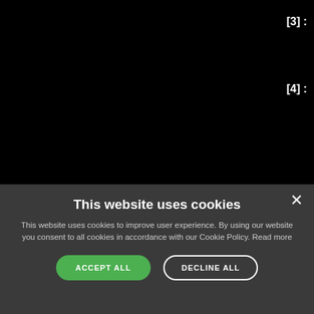[Figure (screenshot): Black background area representing a webpage content area]
[3] :
[4] :
This website uses cookies
This website uses cookies to improve user experience. By using our website you consent to all cookies in accordance with our Cookie Policy. Read more
ACCEPT ALL
DECLINE ALL